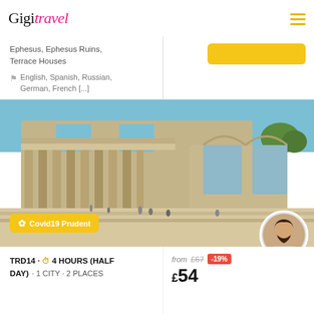Gigi Travel
Ephesus, Ephesus Ruins, Terrace Houses
English, Spanish, Russian, German, French [...]
[Figure (photo): Photo of Ephesus ancient ruins with columns and arches under blue sky]
Covid19 Prudent
TRD14 · 4 HOURS (HALF DAY) · 1 CITY · 2 PLACES
from £67 -19% £54